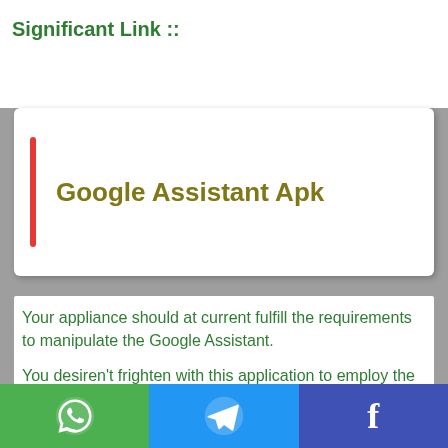Significant Link ::
Google Assistant Apk
Your appliance should at current fulfill the requirements to manipulate the Google Assistant.

You desiren't frighten with this application to employ the Google Assistant on the off opportunity that you as of directly have the Google Assistant on your appliance.
[Figure (infographic): Footer sharing bar with WhatsApp (green), Telegram (blue), and Facebook (dark blue) buttons]